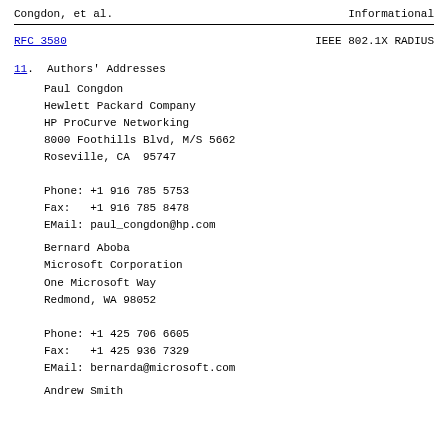Congdon, et al.    Informational
RFC 3580    IEEE 802.1X RADIUS
11.  Authors' Addresses
Paul Congdon
Hewlett Packard Company
HP ProCurve Networking
8000 Foothills Blvd, M/S 5662
Roseville, CA  95747

Phone: +1 916 785 5753
Fax:   +1 916 785 8478
EMail: paul_congdon@hp.com
Bernard Aboba
Microsoft Corporation
One Microsoft Way
Redmond, WA 98052

Phone: +1 425 706 6605
Fax:   +1 425 936 7329
EMail: bernarda@microsoft.com
Andrew Smith